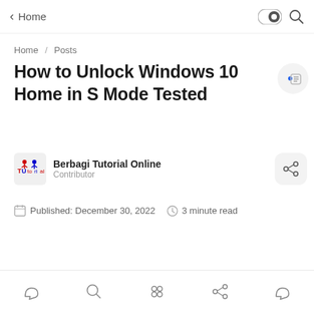Home
Home / Posts
How to Unlock Windows 10 Home in S Mode Tested
Berbagi Tutorial Online
Contributor
Published: December 30, 2022   3 minute read